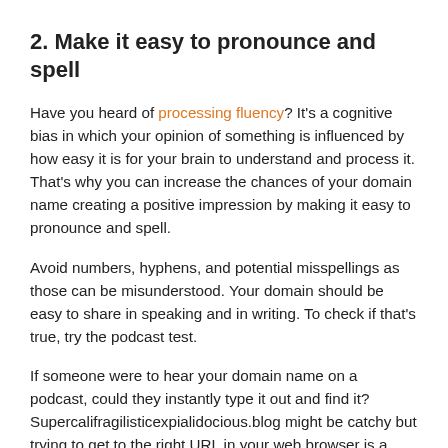2. Make it easy to pronounce and spell
Have you heard of processing fluency? It's a cognitive bias in which your opinion of something is influenced by how easy it is for your brain to understand and process it. That's why you can increase the chances of your domain name creating a positive impression by making it easy to pronounce and spell.
Avoid numbers, hyphens, and potential misspellings as those can be misunderstood. Your domain should be easy to share in speaking and in writing. To check if that's true, try the podcast test.
If someone were to hear your domain name on a podcast, could they instantly type it out and find it? Supercalifragilisticexpialidocious.blog might be catchy but trying to get to the right URL in your web browser is a different story.